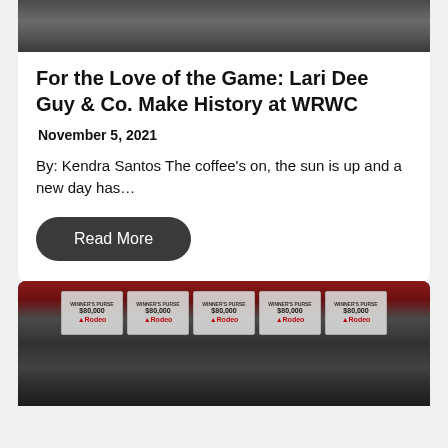[Figure (photo): Group photo of people at WRWC event, partially visible at top of page]
For the Love of the Game: Lari Dee Guy & Co. Make History at WRWC
November 5, 2021
By: Kendra Santos The coffee's on, the sun is up and a new day has…
Read More
[Figure (photo): Group of rodeo competitors holding large prize check signs on an arena floor, partially visible at bottom of page]